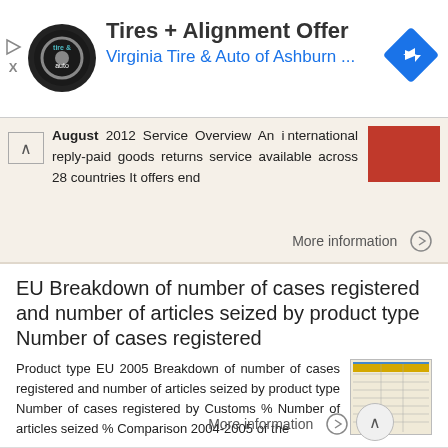[Figure (other): Ad banner for Virginia Tire & Auto of Ashburn - Tires + Alignment Offer with logo and navigation arrow icon]
August 2012 Service Overview An international reply-paid goods returns service available across 28 countries It offers end
More information →
EU Breakdown of number of cases registered and number of articles seized by product type Number of cases registered
Product type EU 2005 Breakdown of number of cases registered and number of articles seized by product type Number of cases registered by Customs % Number of articles seized % Comparison 2004-2005 of the
More information →